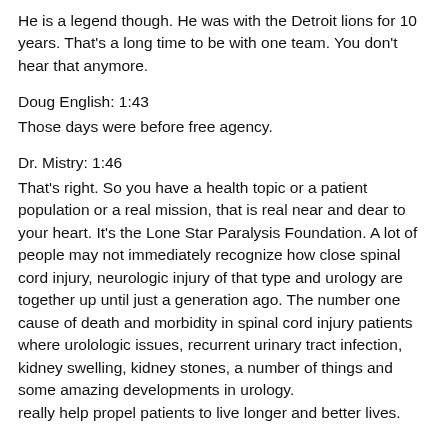He is a legend though. He was with the Detroit lions for 10 years. That's a long time to be with one team. You don't hear that anymore.
Doug English: 1:43
Those days were before free agency.
Dr. Mistry: 1:46
That's right. So you have a health topic or a patient population or a real mission, that is real near and dear to your heart. It's the Lone Star Paralysis Foundation. A lot of people may not immediately recognize how close spinal cord injury, neurologic injury of that type and urology are together up until just a generation ago. The number one cause of death and morbidity in spinal cord injury patients where urolologic issues, recurrent urinary tract infection, kidney swelling, kidney stones, a number of things and some amazing developments in urology. really help propel patients to live longer and better lives.